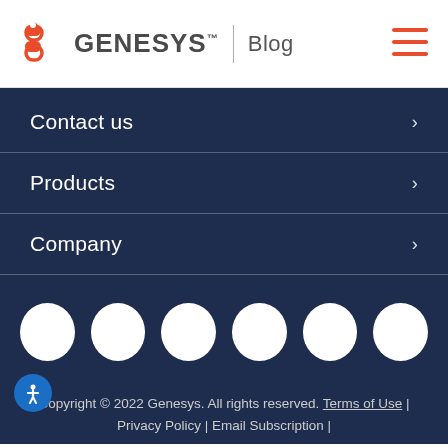GENESYS | Blog
Contact us
Products
Company
[Figure (other): Six white circular social media icon buttons arranged in a row on dark navy background]
Copyright © 2022 Genesys. All rights reserved. Terms of Use | Privacy Policy | Email Subscription |